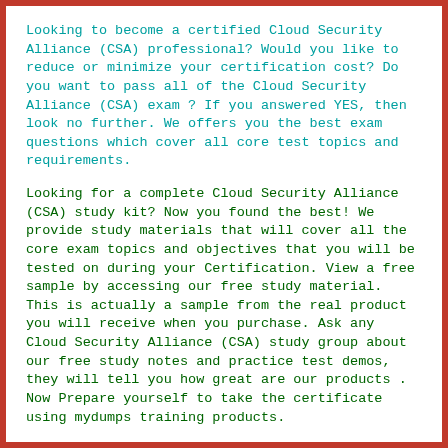Looking to become a certified Cloud Security Alliance (CSA) professional? Would you like to reduce or minimize your certification cost? Do you want to pass all of the Cloud Security Alliance (CSA) exam ? If you answered YES, then look no further. We offers you the best exam questions which cover all core test topics and requirements.
Looking for a complete Cloud Security Alliance (CSA) study kit? Now you found the best! We provide study materials that will cover all the core exam topics and objectives that you will be tested on during your Certification. View a free sample by accessing our free study material. This is actually a sample from the real product you will receive when you purchase. Ask any Cloud Security Alliance (CSA) study group about our free study notes and practice test demos, they will tell you how great are our products . Now Prepare yourself to take the certificate using mydumps training products.